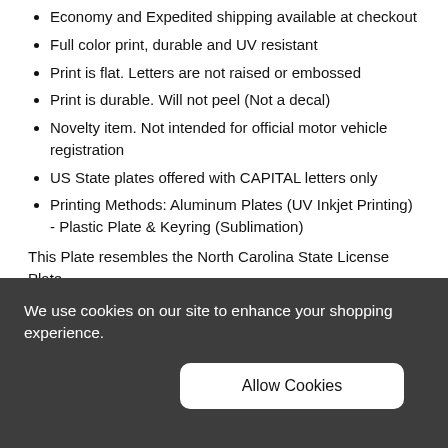Economy and Expedited shipping available at checkout
Full color print, durable and UV resistant
Print is flat. Letters are not raised or embossed
Print is durable. Will not peel (Not a decal)
Novelty item. Not intended for official motor vehicle registration
US State plates offered with CAPITAL letters only
Printing Methods: Aluminum Plates (UV Inkjet Printing) - Plastic Plate & Keyring (Sublimation)
This Plate resembles the North Carolina State License Plate.
These are high quality plates and are nothing like the ones you find in a gas stations or at Walmart. The plates are professionally printed using only the best professional
We use cookies on our site to enhance your shopping experience.
Allow Cookies